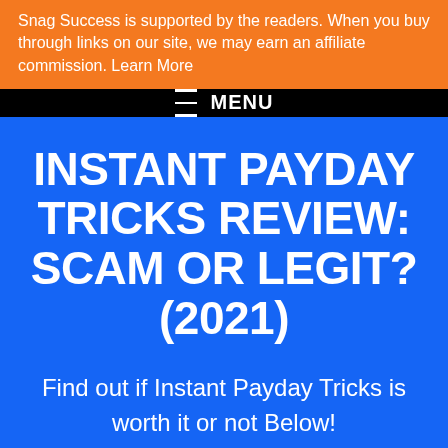Snag Success is supported by the readers. When you buy through links on our site, we may earn an affiliate commission. Learn More
≡ MENU
INSTANT PAYDAY TRICKS REVIEW: SCAM OR LEGIT? (2021)
Find out if Instant Payday Tricks is worth it or not Below!